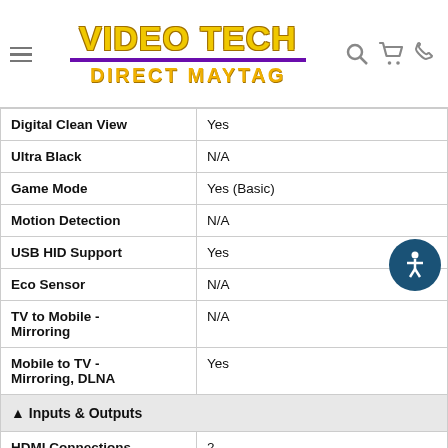VIDEO TECH DIRECT MAYTAG
| Feature | Value |
| --- | --- |
| Digital Clean View | Yes |
| Ultra Black | N/A |
| Game Mode | Yes (Basic) |
| Motion Detection | N/A |
| USB HID Support | Yes |
| Eco Sensor | N/A |
| TV to Mobile - Mirroring | N/A |
| Mobile to TV - Mirroring, DLNA | Yes |
| ▲ Inputs & Outputs |  |
| HDMI Connections | 2 |
| USB | 1 |